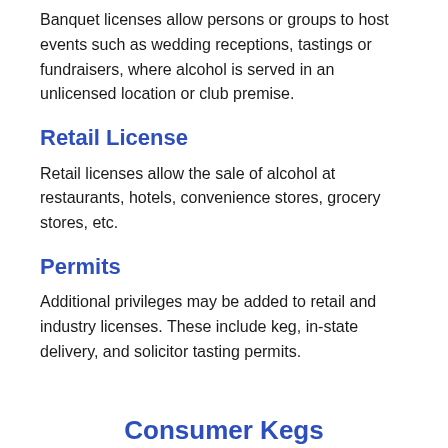Banquet licenses allow persons or groups to host events such as wedding receptions, tastings or fundraisers, where alcohol is served in an unlicensed location or club premise.
Retail License
Retail licenses allow the sale of alcohol at restaurants, hotels, convenience stores, grocery stores, etc.
Permits
Additional privileges may be added to retail and industry licenses. These include keg, in-state delivery, and solicitor tasting permits.
Consumer Kegs